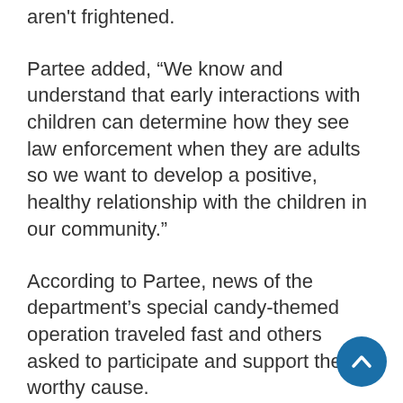aren't frightened.
Partee added, “We know and understand that early interactions with children can determine how they see law enforcement when they are adults so we want to develop a positive, healthy relationship with the children in our community.”
According to Partee, news of the department’s special candy-themed operation traveled fast and others asked to participate and support the worthy cause.
“Our local Walmart donated all of the candy canes and the Main Street Trolley owners called and asked to participate,” said Partee. “Tony Cagle, who is a professional Santa Claus, reached out to volunteer his time and LRC Promotions created a special hat designed for Mrs. Turner. It was definitely a joint effort by several groups who wanted nothing more than to